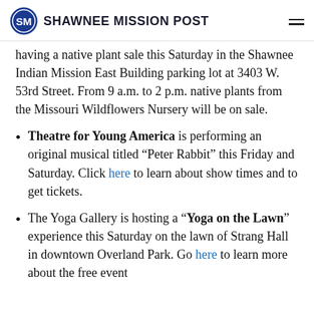SHAWNEE MISSION POST
having a native plant sale this Saturday in the Shawnee Indian Mission East Building parking lot at 3403 W. 53rd Street. From 9 a.m. to 2 p.m. native plants from the Missouri Wildflowers Nursery will be on sale.
Theatre for Young America is performing an original musical titled “Peter Rabbit” this Friday and Saturday. Click here to learn about show times and to get tickets.
The Yoga Gallery is hosting a “Yoga on the Lawn” experience this Saturday on the lawn of Strang Hall in downtown Overland Park. Go here to learn more about the free event